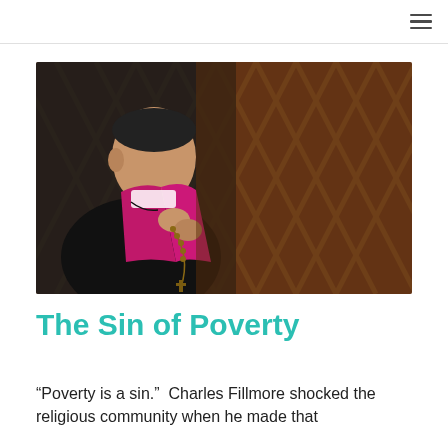[Figure (photo): A clergyman dressed in black with a magenta/purple stole, holding rosary beads, photographed in profile against a wooden lattice confessional screen background.]
The Sin of Poverty
“Poverty is a sin.”  Charles Fillmore shocked the religious community when he made that